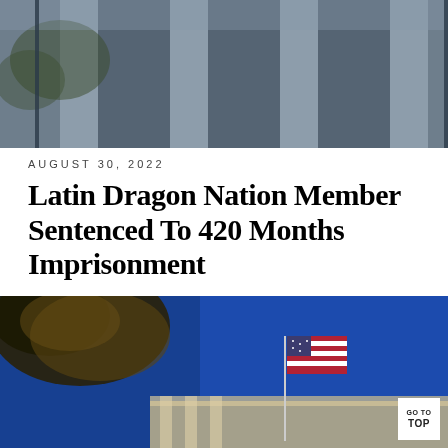[Figure (photo): Exterior photo of a neoclassical government building showing large stone columns and architectural facade, viewed from below against a grey sky with some trees.]
AUGUST 30, 2022
Latin Dragon Nation Member Sentenced To 420 Months Imprisonment
[Figure (photo): Exterior photo of a government building with an American flag flying in front, taken from a low angle against a deep blue sky with bare tree branches visible on the left side.]